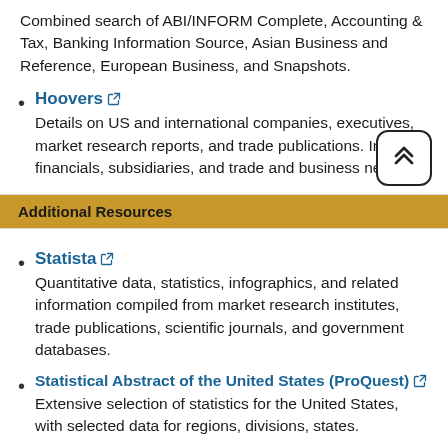Combined search of ABI/INFORM Complete, Accounting & Tax, Banking Information Source, Asian Business and Reference, European Business, and Snapshots.
Hoovers — Details on US and international companies, executives, market research reports, and trade publications. Includes financials, subsidiaries, and trade and business news.
Additional Resources
Statista — Quantitative data, statistics, infographics, and related information compiled from market research institutes, trade publications, scientific journals, and government databases.
Statistical Abstract of the United States (ProQuest) — Extensive selection of statistics for the United States, with selected data for regions, divisions, states.